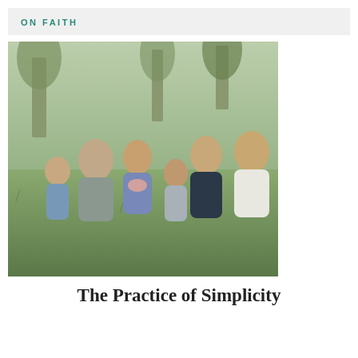ON FAITH
[Figure (photo): A family of six — a father, mother, and four children — sitting together in a grassy field with trees in the background, smiling and interacting with each other.]
The Practice of Simplicity